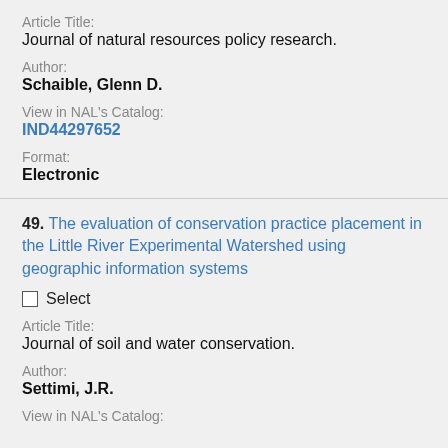Article Title:
Journal of natural resources policy research.
Author:
Schaible, Glenn D.
View in NAL's Catalog:
IND44297652
Format:
Electronic
49. The evaluation of conservation practice placement in the Little River Experimental Watershed using geographic information systems
Select
Article Title:
Journal of soil and water conservation.
Author:
Settimi, J.R.
View in NAL's Catalog: